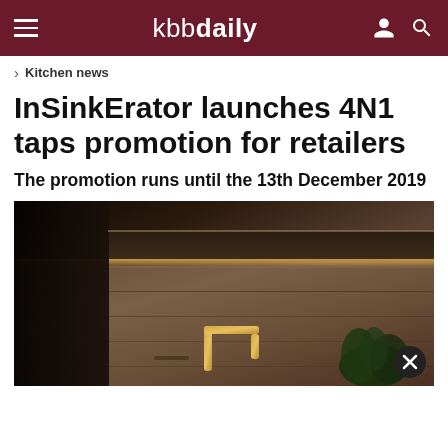kbbdaily
Kitchen news
InSinkErator launches 4N1 taps promotion for retailers
The promotion runs until the 13th December 2019
[Figure (photo): Dark kitchen counter with warm under-cabinet LED lighting strip, dark textured cabinetry, a gold/brass tap visible at lower centre, and green plant at lower right]